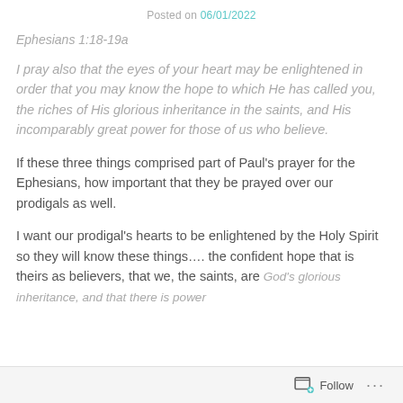Posted on 06/01/2022
Ephesians 1:18-19a
I pray also that the eyes of your heart may be enlightened in order that you may know the hope to which He has called you, the riches of His glorious inheritance in the saints, and His incomparably great power for those of us who believe.
If these three things comprised part of Paul’s prayer for the Ephesians, how important that they be prayed over our prodigals as well.
I want our prodigal’s hearts to be enlightened by the Holy Spirit so they will know these things…. the confident hope that is theirs as believers, that we, the saints, are God’s glorious inheritance, and that there is power
Follow ...